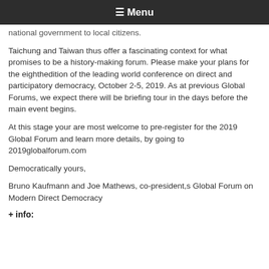☰ Menu
…national government to local citizens.
Taichung and Taiwan thus offer a fascinating context for what promises to be a history-making forum. Please make your plans for the eighthedition of the leading world conference on direct and participatory democracy, October 2-5, 2019. As at previous Global Forums, we expect there will be briefing tour in the days before the main event begins.
At this stage your are most welcome to pre-register for the 2019 Global Forum and learn more details, by going to 2019globalforum.com
Democratically yours,
Bruno Kaufmann and Joe Mathews, co-president,s Global Forum on Modern Direct Democracy
+ info: